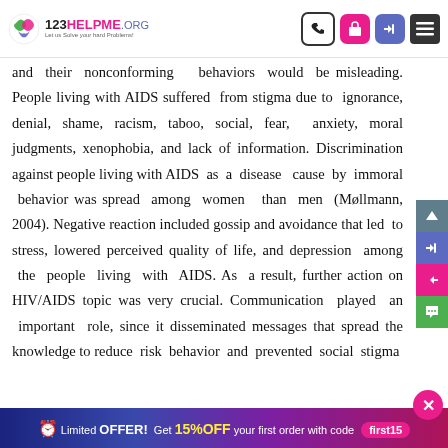123HELPME.ORG - Let us Solve your hard Problems!
and their nonconforming behaviors would be misleading. People living with AIDS suffered from stigma due to ignorance, denial, shame, racism, taboo, social, fear, anxiety, moral judgments, xenophobia, and lack of information. Discrimination against people living with AIDS as a disease cause by immoral behavior was spread among women than men (Møllmann, 2004). Negative reaction included gossip and avoidance that led to stress, lowered perceived quality of life, and depression among the people living with AIDS. As a result, further action on HIV/AIDS topic was very crucial. Communication played an important role, since it disseminated messages that spread the knowledge to reduce risk behavior and prevented social stigma
Limited OFFER! Get 15%OFF your first order with code first15